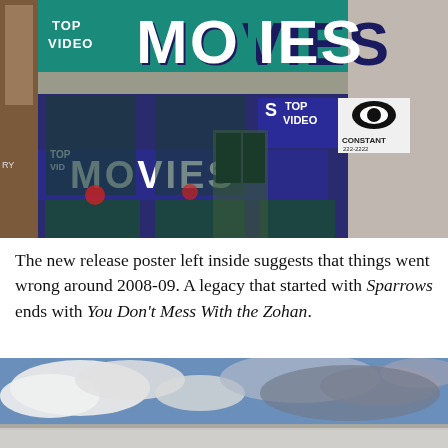[Figure (photo): Street-level photo of a Top Video / Top Movies video rental store storefront. Large signs read 'TOP VIDEO MOVIES' in white and blue letters on teal and dark blue backgrounds. A smaller 'TOP VIDEO' sign is visible in the window area, along with a 'CONSTANT' eye logo sign. The store has glass windows and appears closed/abandoned.]
The new release poster left inside suggests that things went wrong around 2008-09. A legacy that started with Sparrows ends with You Don't Mess With the Zohan.
[Figure (photo): Partial photo showing a cloudy sky with blue patches and the roofline of a building visible at the bottom.]